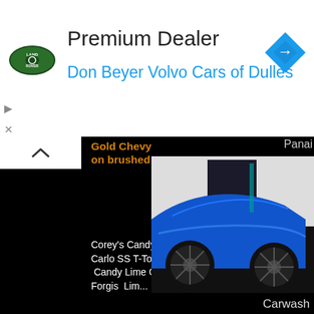[Figure (other): Land Rover logo green oval badge]
Premium Dealer
Don Beyer Volvo Cars of Dulles
[Figure (other): Blue navigation arrow diamond icon]
Gold Chevy Monte Carlo SS T-Top on brushed 26" Forgiatos
Corey's Candy Lime Gold Chevy Monte Carlo SS T-Top on brushed 26" Forgiatos  Candy Lime Gold Chevy MC T-Top on 6's Forgis  Lim...
Von's Henny Edition Dodge Magnum SRT on 34" Amani Forged
[Figure (photo): Bronze/copper colored car with swirl patterned forged wheels]
Von's Henny Edition Dodge
Panai
[Figure (photo): Blue custom car with large dark spoke wheels in garage]
Carwash